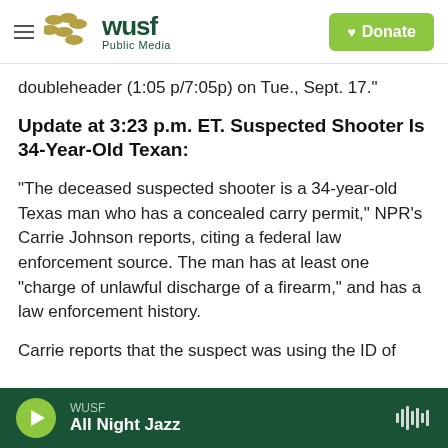WUSF Public Media — Donate
doubleheader (1:05 p/7:05p) on Tue., Sept. 17."
Update at 3:23 p.m. ET. Suspected Shooter Is 34-Year-Old Texan:
"The deceased suspected shooter is a 34-year-old Texas man who has a concealed carry permit," NPR's Carrie Johnson reports, citing a federal law enforcement source. The man has at least one "charge of unlawful discharge of a firearm," and has a law enforcement history.
Carrie reports that the suspect was using the ID of
WUSF — All Night Jazz